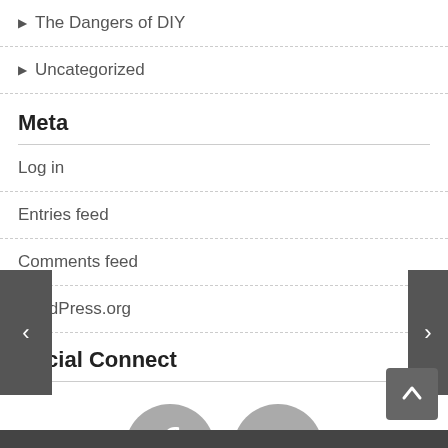▶ The Dangers of DIY
▶ Uncategorized
Meta
Log in
Entries feed
Comments feed
WordPress.org
Social Connect
[Figure (logo): Facebook and YouTube social media icons (grey circles with white logos)]